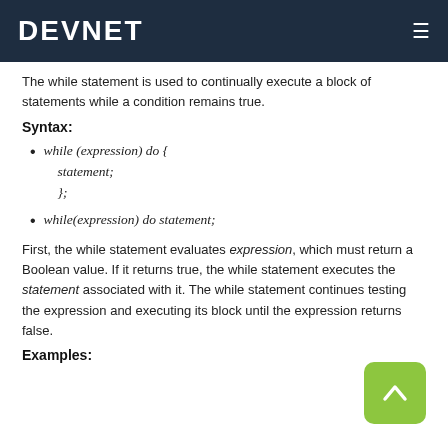DEVNET
The while statement is used to continually execute a block of statements while a condition remains true.
Syntax:
while (expression) do {
    statement;
};
while(expression) do statement;
First, the while statement evaluates expression, which must return a Boolean value. If it returns true, the while statement executes the statement associated with it. The while statement continues testing the expression and executing its block until the expression returns false.
Examples: